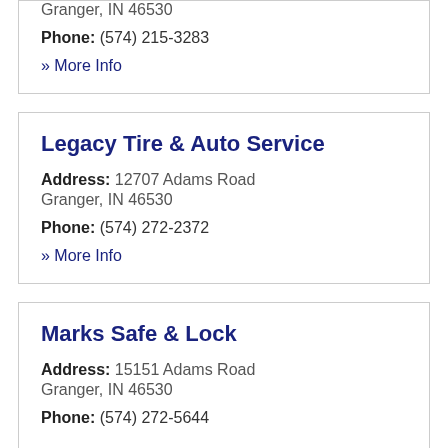Granger, IN 46530
Phone: (574) 215-3283
» More Info
Legacy Tire & Auto Service
Address: 12707 Adams Road
Granger, IN 46530
Phone: (574) 272-2372
» More Info
Marks Safe & Lock
Address: 15151 Adams Road
Granger, IN 46530
Phone: (574) 272-5644